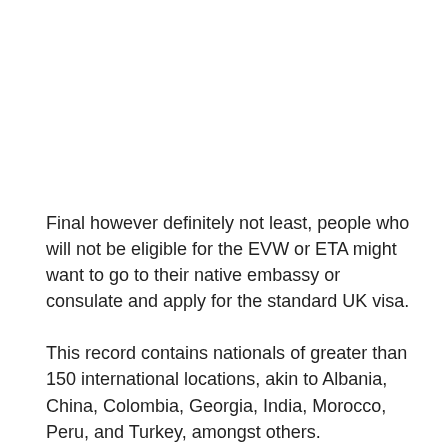Final however definitely not least, people who will not be eligible for the EVW or ETA might want to go to their native embassy or consulate and apply for the standard UK visa.
This record contains nationals of greater than 150 international locations, akin to Albania, China, Colombia, Georgia, India, Morocco, Peru, and Turkey, amongst others.
The most typical visa for the UK is the customer visa, which permits the holder to enter the UK for the needs of